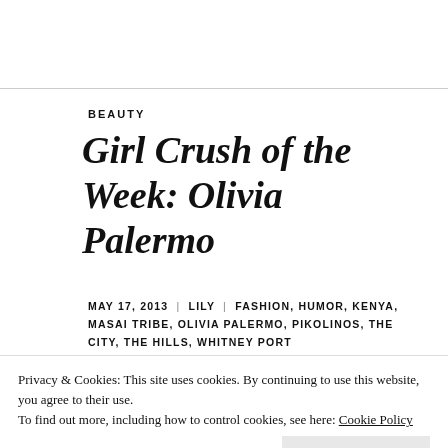BEAUTY
Girl Crush of the Week: Olivia Palermo
MAY 17, 2013 | LILY | FASHION, HUMOR, KENYA, MASAI TRIBE, OLIVIA PALERMO, PIKOLINOS, THE CITY, THE HILLS, WHITNEY PORT
Privacy & Cookies: This site uses cookies. By continuing to use this website, you agree to their use. To find out more, including how to control cookies, see here: Cookie Policy
Close and accept